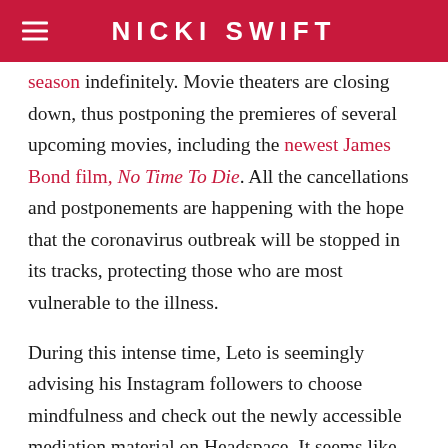NICKI SWIFT
season indefinitely. Movie theaters are closing down, thus postponing the premieres of several upcoming movies, including the newest James Bond film, No Time To Die. All the cancellations and postponements are happening with the hope that the coronavirus outbreak will be stopped in its tracks, protecting those who are most vulnerable to the illness.

During this intense time, Leto is seemingly advising his Instagram followers to choose mindfulness and check out the newly accessible mediation material on Headspace. It seems like pretty good advice in comparison to advice some other celebs have been